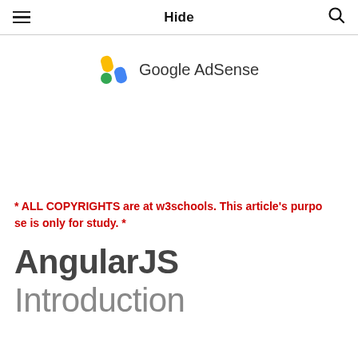Hide
[Figure (logo): Google AdSense logo with colorful icon (yellow, blue, green shapes) and text 'Google AdSense']
* ALL COPYRIGHTS are at w3schools. This article's purpose is only for study. *
AngularJS Introduction